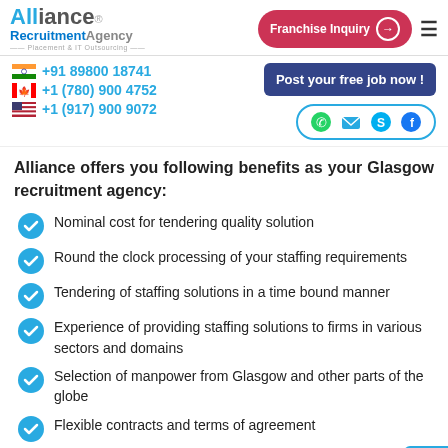Alliance Recruitment Agency — Placement & IT Outsourcing
+91 89800 18741 | +1 (780) 900 4752 | +1 (917) 900 9072
Alliance offers you following benefits as your Glasgow recruitment agency:
Nominal cost for tendering quality solution
Round the clock processing of your staffing requirements
Tendering of staffing solutions in a time bound manner
Experience of providing staffing solutions to firms in various sectors and domains
Selection of manpower from Glasgow and other parts of the globe
Flexible contracts and terms of agreement
Proper assessment and orientation of employee before joining